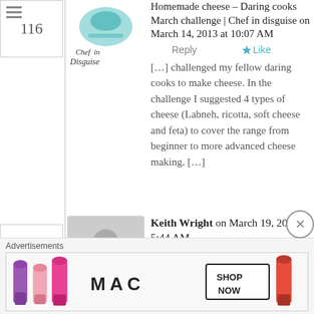116
[Figure (logo): Chef in Disguise blog logo - cursive text with a teal hat illustration]
Homemade cheese – Daring cooks March challenge | Chef in disguise on March 14, 2013 at 10:07 AM
Reply
Like
[…] challenged my fellow daring cooks to make cheese. In the challenge I suggested 4 types of cheese (Labneh, ricotta, soft cheese and feta) to cover the range from beginner to more advanced cheese making. […]
117
[Figure (illustration): Gray silhouette avatar of a person]
Keith Wright on March 19, 2013 at 5:44 AM
Reply
Like
“What most people think of as “cheese cloth” the very wide weave material i…
Advertisements
[Figure (photo): MAC cosmetics advertisement showing lipsticks in purple, pink, and red colors with SHOP NOW text]